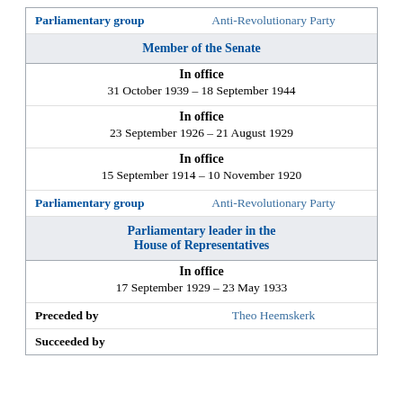| Parliamentary group | Anti-Revolutionary Party |
| Member of the Senate |  |
| In office | 31 October 1939 – 18 September 1944 |
| In office | 23 September 1926 – 21 August 1929 |
| In office | 15 September 1914 – 10 November 1920 |
| Parliamentary group | Anti-Revolutionary Party |
| Parliamentary leader in the House of Representatives |  |
| In office | 17 September 1929 – 23 May 1933 |
| Preceded by | Theo Heemskerk |
| Succeeded by | ... |